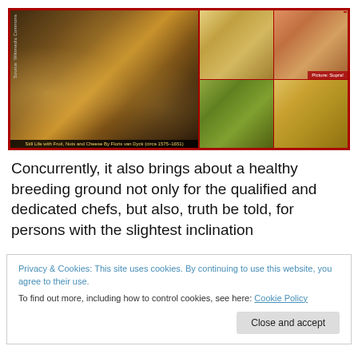[Figure (photo): Left: painting 'Still Life with Fruit, Nuts and Cheese By Floris van Dyck (circa 1575-1651)' with source attribution to Wikimedia Commons. Right: 2x2 grid of food photos (Asian noodle dishes and grilled meats) labeled 'Picture: Supra!']
Concurrently, it also brings about a healthy breeding ground not only for the qualified and dedicated chefs, but also, truth be told, for persons with the slightest inclination
Privacy & Cookies: This site uses cookies. By continuing to use this website, you agree to their use.
To find out more, including how to control cookies, see here: Cookie Policy
Close and accept